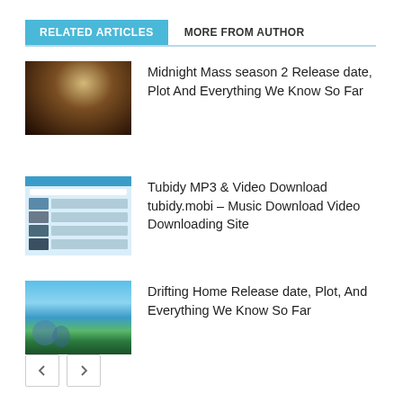RELATED ARTICLES
MORE FROM AUTHOR
[Figure (photo): Dark religious scene, person in white robes with arms raised]
Midnight Mass season 2 Release date, Plot And Everything We Know So Far
[Figure (screenshot): Screenshot of Tubidy website with blue header and media thumbnails]
Tubidy MP3 & Video Download tubidy.mobi – Music Download Video Downloading Site
[Figure (illustration): Anime illustration of children in a flooded landscape with blue sky]
Drifting Home Release date, Plot, And Everything We Know So Far